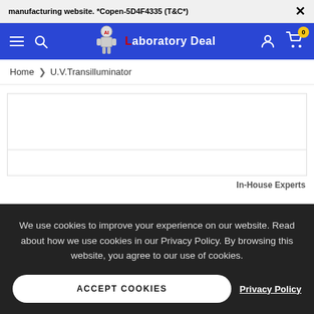manufacturing website. *Copen-5D4F4335 (T&C*)
[Figure (logo): Laboratory Deal website logo with robot/scientist figure and blue navigation bar containing hamburger menu, search icon, logo, user icon and cart with 0 badge]
Home > U.V.Transilluminator
[Figure (photo): White product image area with border, blank/empty space for product photo]
We use cookies to improve your experience on our website. Read about how we use cookies in our Privacy Policy. By browsing this website, you agree to our use of cookies.
ACCEPT COOKIES
Privacy Policy
In-House Experts